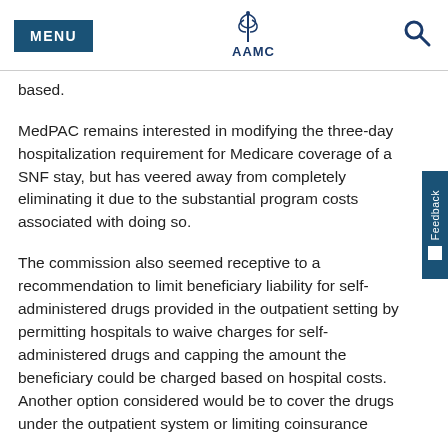MENU | AAMC | Search
based.
MedPAC remains interested in modifying the three-day hospitalization requirement for Medicare coverage of a SNF stay, but has veered away from completely eliminating it due to the substantial program costs associated with doing so.
The commission also seemed receptive to a recommendation to limit beneficiary liability for self-administered drugs provided in the outpatient setting by permitting hospitals to waive charges for self-administered drugs and capping the amount the beneficiary could be charged based on hospital costs. Another option considered would be to cover the drugs under the outpatient system or limiting coinsurance